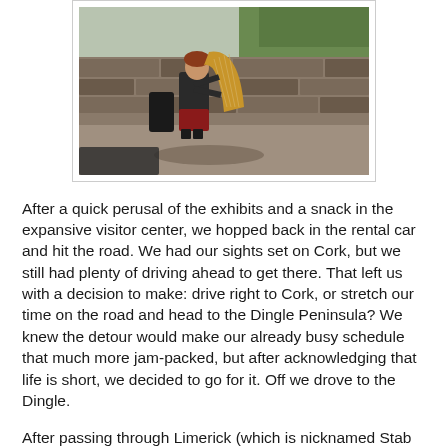[Figure (photo): A person sitting outdoors playing a harp against a stone wall background with green grass visible in the upper portion. The harpist is dressed in dark clothing and the harp is a natural wood color.]
After a quick perusal of the exhibits and a snack in the expansive visitor center, we hopped back in the rental car and hit the road. We had our sights set on Cork, but we still had plenty of driving ahead to get there. That left us with a decision to make: drive right to Cork, or stretch our time on the road and head to the Dingle Peninsula? We knew the detour would make our already busy schedule that much more jam-packed, but after acknowledging that life is short, we decided to go for it. Off we drove to the Dingle.
After passing through Limerick (which is nicknamed Stab City), we made a bee line to the peninsula, which is known for its beautiful scenery, winding roads and beaches. When we reached the Dingle, we immediately fell in love with our